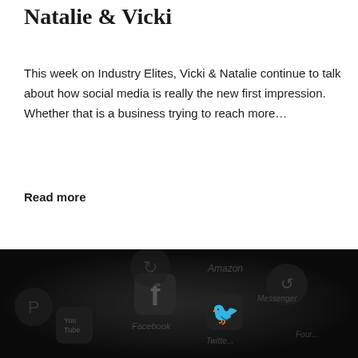Natalie & Vicki
This week on Industry Elites, Vicki & Natalie continue to talk about how social media is really the new first impression. Whether that is a business trying to reach more…
Read more
[Figure (photo): Dark background photo showing multiple social media app icons including Facebook, Twitter, YouTube, Amazon, Messenger, and Foursquare on a smartphone screen]